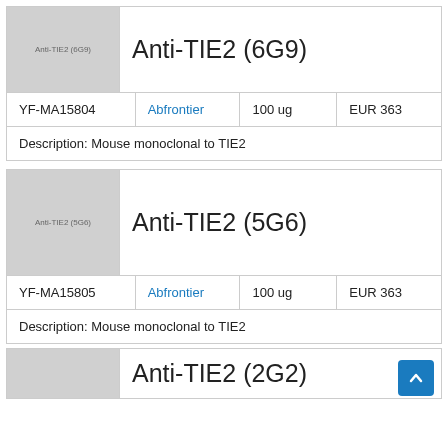Anti-TIE2 (6G9)
[Figure (photo): Product image placeholder showing Anti-TIE2 (6G9) label on gray background]
| Catalog | Supplier | Quantity | Price |
| --- | --- | --- | --- |
| YF-MA15804 | Abfrontier | 100 ug | EUR 363 |
Description: Mouse monoclonal to TIE2
Anti-TIE2 (5G6)
[Figure (photo): Product image placeholder showing Anti-TIE2 (5G6) label on gray background]
| Catalog | Supplier | Quantity | Price |
| --- | --- | --- | --- |
| YF-MA15805 | Abfrontier | 100 ug | EUR 363 |
Description: Mouse monoclonal to TIE2
Anti-TIE2 (2G2)